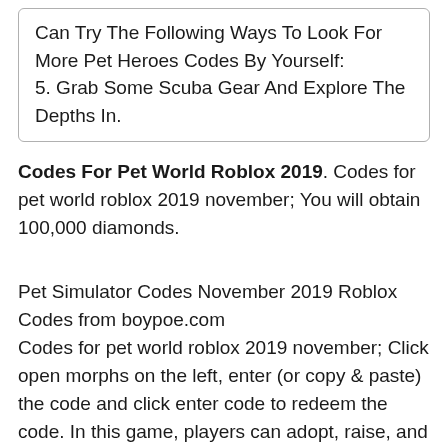Can Try The Following Ways To Look For More Pet Heroes Codes By Yourself: 5. Grab Some Scuba Gear And Explore The Depths In.
Codes For Pet World Roblox 2019. Codes for pet world roblox 2019 november; You will obtain 100,000 diamonds.
Pet Simulator Codes November 2019 Roblox Codes from boypoe.com
Codes for pet world roblox 2019 november; Click open morphs on the left, enter (or copy & paste) the code and click enter code to redeem the code. In this game, players can adopt, raise, and dress a variety of cute pets.